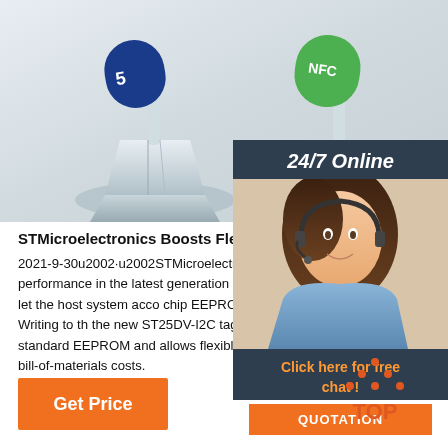[Figure (photo): Product photo of NFC wristband/tag stands on white background with colorful wristbands displayed]
[Figure (photo): 24/7 Online chat support sidebar with a woman wearing a headset, orange QUOTATION button, and 'Click here for free chat!' text]
STMicroelectronics Boosts Flexibility And Speed Wi
2021-9-30u2002·u2002STMicroelectronics has increased interface performance in the latest generation of its dynamic NFC-tag ICs, which let the host system access chip EEPROM more quickly and easily.. Writing to the new ST25DV-I2C tags, via the I2C interface, is more standard EEPROM and allows flexible use of the tag to reduce system bill-of-materials costs.
[Figure (illustration): Orange dotted triangle TOP arrow icon for back to top navigation]
Get Price